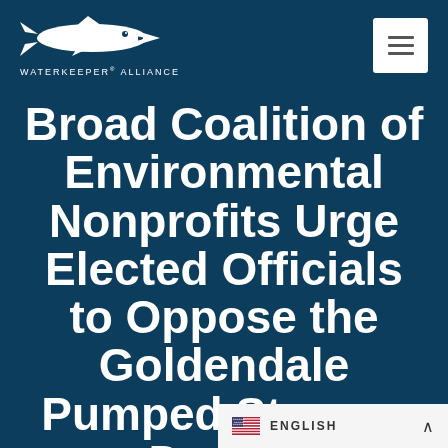[Figure (logo): Waterkeeper Alliance logo — white stylized fish/shark with text WATERKEEPER® ALLIANCE below]
[Figure (other): White square hamburger menu button with three horizontal lines]
Broad Coalition of Environmental Nonprofits Urge Elected Officials to Oppose the Goldendale Pumped Storage Development
[Figure (other): Language selector bar showing US flag and ENGLISH label with up caret]